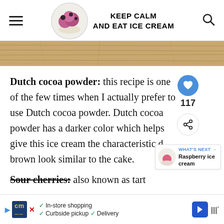KEEP CALM AND EAT ICE CREAM
[Figure (photo): Top portion of a wooden table surface, warm brown wood grain texture, cropped strip]
Dutch cocoa powder: this recipe is one of the few times when I actually prefer to use Dutch cocoa powder. Dutch cocoa powder has a darker color which helps give this ice cream the characteristic d brown look similar to the cake.
Sour cherries: also known as tart ch is